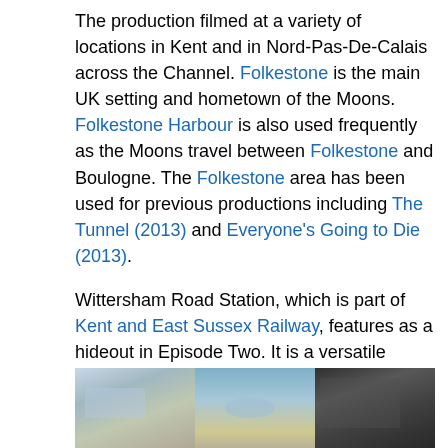The production filmed at a variety of locations in Kent and in Nord-Pas-De-Calais across the Channel. Folkestone is the main UK setting and hometown of the Moons. Folkestone Harbour is also used frequently as the Moons travel between Folkestone and Boulogne. The Folkestone area has been used for previous productions including The Tunnel (2013) and Everyone's Going to Die (2013).
Wittersham Road Station, which is part of Kent and East Sussex Railway, features as a hideout in Episode Two. It is a versatile historic railway that boasts an extensive list of production credits including Mapp and Lucia (2014) and Last Passenger (2013).
[Figure (photo): Three photographs showing filming locations: a harbour/dock scene, a boat on water, and a black-and-white historical image.]